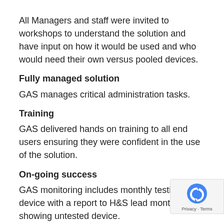All Managers and staff were invited to workshops to understand the solution and have input on how it would be used and who would need their own versus pooled devices.
Fully managed solution
GAS manages critical administration tasks.
Training
GAS delivered hands on training to all end users ensuring they were confident in the use of the solution.
On-going success
GAS monitoring includes monthly testing of e device with a report to H&S lead monthly showing untested device.